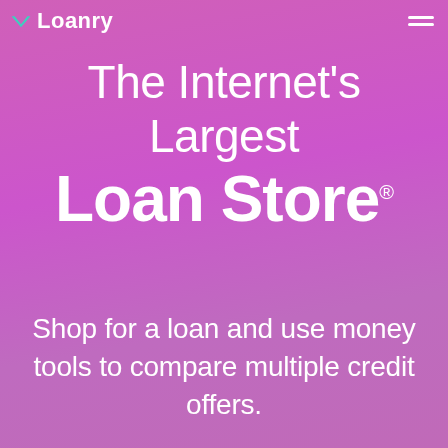Loanry
The Internet's Largest Loan Store®
Shop for a loan and use money tools to compare multiple credit offers.